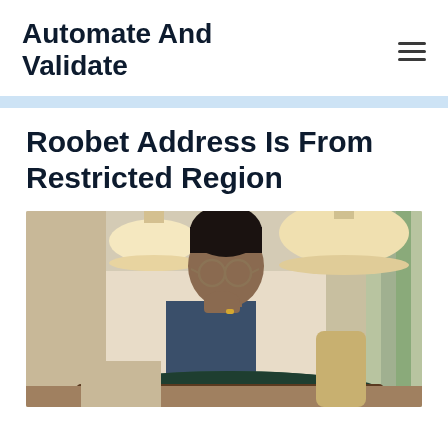Automate And Validate
Roobet Address Is From Restricted Region
[Figure (photo): A young man with glasses wearing a white shirt and blue vest, sitting at a casino table with roulette, in an elegant hotel casino interior with pendant lamps and drapes in the background.]